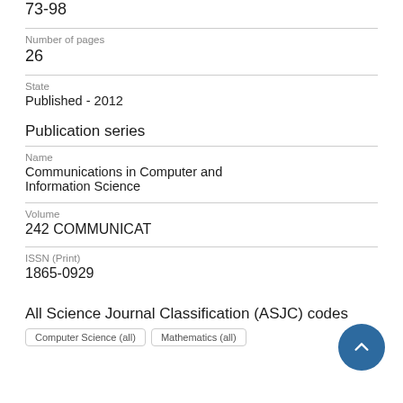73-98
Number of pages
26
State
Published - 2012
Publication series
Name
Communications in Computer and Information Science
Volume
242 COMMUNICAT
ISSN (Print)
1865-0929
All Science Journal Classification (ASJC) codes
Computer Science (all)
Mathematics (all)